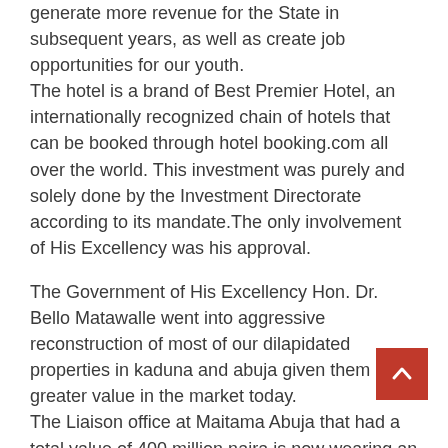generate more revenue for the State in subsequent years, as well as create job opportunities for our youth.
The hotel is a brand of Best Premier Hotel, an internationally recognized chain of hotels that can be booked through hotel booking.com all over the world. This investment was purely and solely done by the Investment Directorate according to its mandate.The only involvement of His Excellency was his approval.
The Government of His Excellency Hon. Dr. Bello Matawalle went into aggressive reconstruction of most of our dilapidated properties in kaduna and abuja given them a greater value in the market today.
The Liaison office at Maitama Abuja that had a total value of 400 million naira is now wearing an amazing look giving the property a huge leap in value to the tune 2.6 billion naira.
The state property at Kaduna worth not than 100 million naira before has been reconstructed by Governor Bello Matawalle and now is valued at 2.8 billion naira, the Directorate is also making